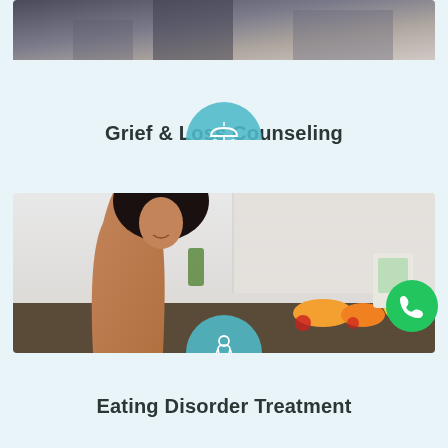[Figure (photo): Partial view of two people, dark clothing, moody background — top of grief counseling card]
Grief & Loss Counseling
[Figure (photo): Woman with curly hair in orange shirt holding green smoothie in modern kitchen — eating disorder treatment card]
Eating Disorder Treatment